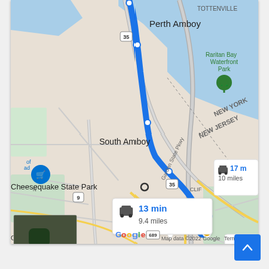[Figure (map): Google Maps screenshot showing a driving route (blue line) from a starting point near Cheesequake State Park northward through South Amboy to Perth Amboy, NJ, near Raritan Bay. The map shows a route popup with '13 min / 9.4 miles' and another popup with '17 m / 10 miles'. Labels visible: Perth Amboy, TOTTENVILLE, Raritan Bay Waterfront Park, NEW YORK, NEW JERSEY, South Amboy, Garden State Pkwy, Cheesequake State Park. Map data ©2022 Google. Zoom +/- controls and satellite thumbnail visible.]
[Figure (other): Blue back-to-top button with upward chevron arrow, positioned bottom-right of page.]